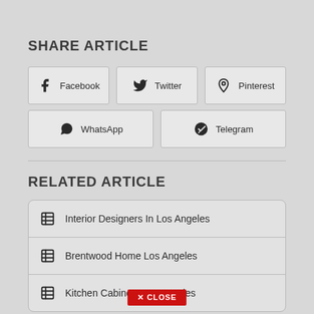SHARE ARTICLE
Facebook
Twitter
Pinterest
WhatsApp
Telegram
RELATED ARTICLE
Interior Designers In Los Angeles
Brentwood Home Los Angeles
Kitchen Cabinets Los Angeles
✕ CLOSE